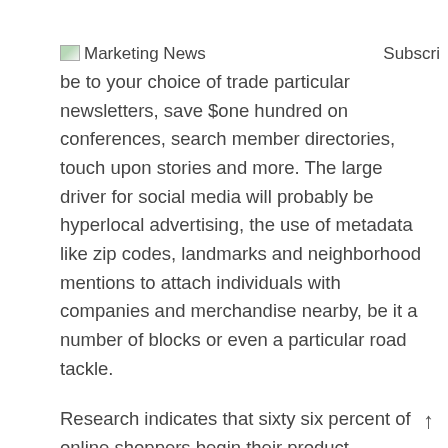Marketing News   Subscribe to your choice of trade particular
newsletters, save $one hundred on conferences, search member directories, touch upon stories and more. The large driver for social media will probably be hyperlocal advertising, the use of metadata like zip codes, landmarks and neighborhood mentions to attach individuals with companies and merchandise nearby, be it a number of blocks or even a particular road tackle.
Research indicates that sixty six percent of online shoppers begin their product searches on Amazon, and Amazon customers behave differently than consumers on different